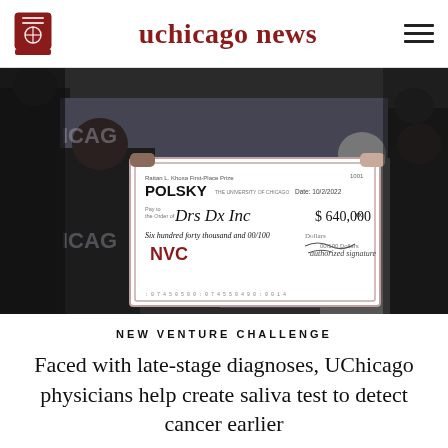uchicago news
[Figure (photo): People holding a large ceremonial check from Polsky / NVC reading 'Rattan L. Khosa First-Place Prize', made out to 'Drs Dx Inc' for $640,000, dated 10/2/2022, at the New Venture Challenge event.]
NEW VENTURE CHALLENGE
Faced with late-stage diagnoses, UChicago physicians help create saliva test to detect cancer earlier